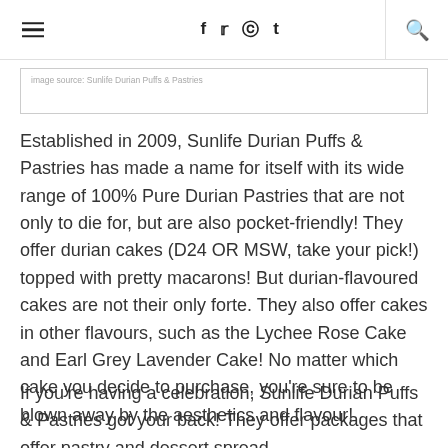≡  f  𝕗  ⊕  t  🔍
Image source: Sunlife Durian Puffs & Pastries
Established in 2009, Sunlife Durian Puffs & Pastries has made a name for itself with its wide range of 100% Pure Durian Pastries that are not only to die for, but are also pocket-friendly! They offer durian cakes (D24 OR MSW, take your pick!) topped with pretty macarons! But durian-flavoured cakes are not their only forte. They also offer cakes in other flavours, such as the Lychee Rose Cake and Earl Grey Lavender Cake! No matter which cake you decide to purchase, you're sure to be blown away by the aesthetics and flavour!
If you're having a celebration, Sunlife Durian Puffs & Pastries got your back! They offer packages that offer pastry and dessert spread